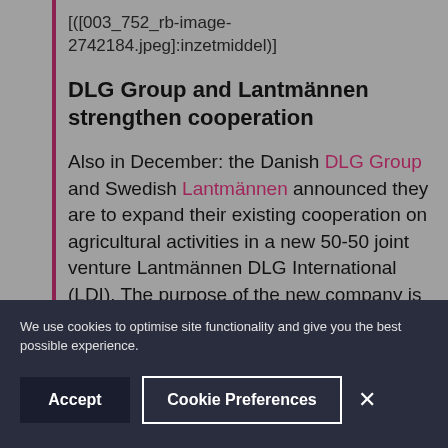[([003_752_rb-image-2742184.jpeg]:inzetmiddel)]
DLG Group and Lantmännen strengthen cooperation
Also in December: the Danish DLG Group and Swedish Lantmännen announced they are to expand their existing cooperation on agricultural activities in a new 50-50 joint venture Lantmännen DLG International (LDI). The purpose of the new company is to
We use cookies to optimise site functionality and give you the best possible experience.